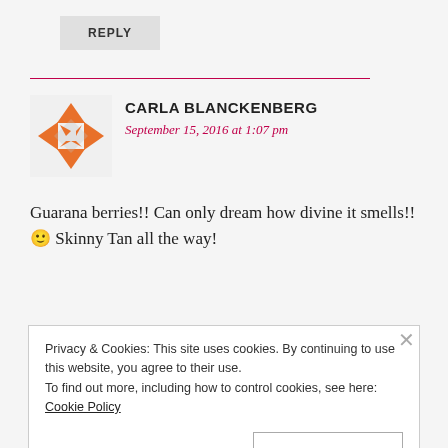REPLY
CARLA BLANCKENBERG
September 15, 2016 at 1:07 pm
Guarana berries!! Can only dream how divine it smells!! 🙂 Skinny Tan all the way!
REPLY
Privacy & Cookies: This site uses cookies. By continuing to use this website, you agree to their use.
To find out more, including how to control cookies, see here: Cookie Policy
Close and accept